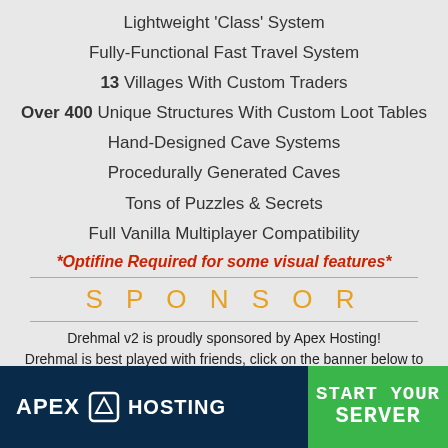Lightweight 'Class' System
Fully-Functional Fast Travel System
13 Villages With Custom Traders
Over 400 Unique Structures With Custom Loot Tables
Hand-Designed Cave Systems
Procedurally Generated Caves
Tons of Puzzles & Secrets
Full Vanilla Multiplayer Compatibility
*Optifine Required for some visual features*
S P O N S O R
Drehmal v2 is proudly sponsored by Apex Hosting! Drehmal is best played with friends, click on the banner below to support us while setting up your server.
[Figure (logo): Apex Hosting advertisement banner with dark blue background on left showing Apex Hosting logo with white box icon, and green panel on right with 'START YOUR SERVER' text in blocky white font.]